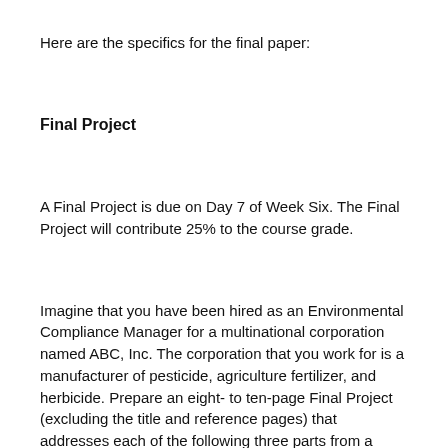Here are the specifics for the final paper:
Final Project
A Final Project is due on Day 7 of Week Six. The Final Project will contribute 25% to the course grade.
Imagine that you have been hired as an Environmental Compliance Manager for a multinational corporation named ABC, Inc. The corporation that you work for is a manufacturer of pesticide, agriculture fertilizer, and herbicide. Prepare an eight- to ten-page Final Project (excluding the title and reference pages) that addresses each of the following three parts from a business perspective. All three parts of this assignment should be submitted as one